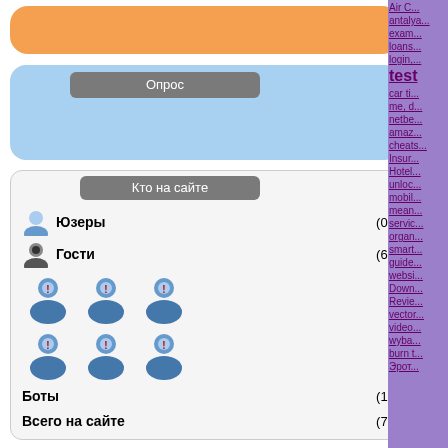[Figure (other): Orange rounded banner at top of left sidebar]
Опрос
Кто на сайте
Юзеры (0)
Гости (6)
Боты (1)
Всего на сайте (7)
История №7 за 13 февраля 2015
Анекдот №7 за 28 июня 2014
Анекдот №6 за 10 мая 2014
Комментарии:
Оставить комментарий
Информация
Посетители, находящиеся в группе Гости, не могут оставлять комментарии к данной публикации.
Air C... antalya... exam... loans... login... test... car ti... me, d... netbe... amazon... cheats... Insur... Hotel... unloc... mobil... mean... servic... organ... smart... guide... websi... Down... Revie... vector... video... wyba... burn t... Эрот...